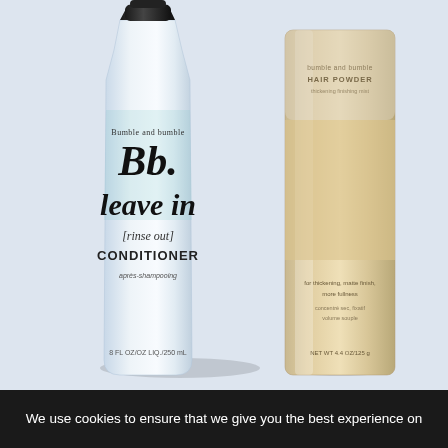[Figure (photo): Two hair care products on a light blue-grey background. On the left is a white bottle of Bumble and bumble Bb. leave in [rinse out] CONDITIONER (après-shampooing), 8 fl oz / 125 mL. On the right is a taller cream/beige cylindrical container of what appears to be a hair powder product with text about thickening, matte finish, more fullness.]
We use cookies to ensure that we give you the best experience on